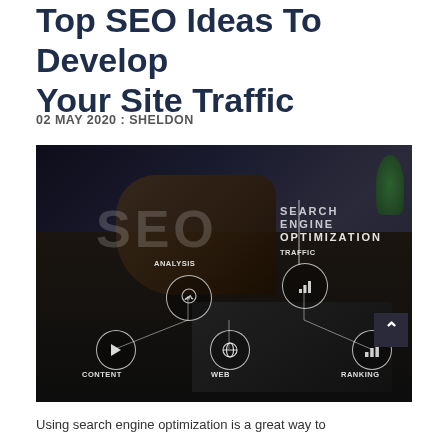Top SEO Ideas To Develop Your Site Traffic
02 MAY 2020 : SHELDON
[Figure (photo): Person typing on a laptop with SEO-related digital overlay icons including ANALYSIS, TRAFFIC, CONTENT, WEB, RANKING circles and large text reading 'SEO' and 'SEARCH ENGINE OPTIMIZATION']
Using search engine optimization is a great way to